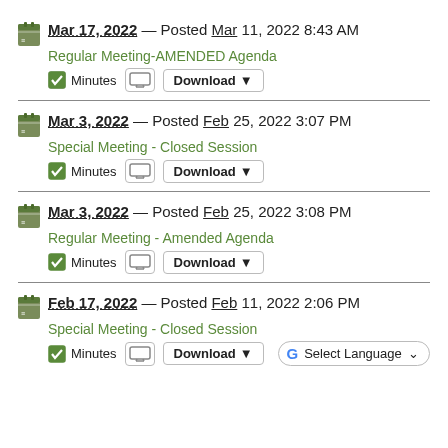Mar 17, 2022 — Posted Mar 11, 2022 8:43 AM
Regular Meeting-AMENDED Agenda
Minutes | Download
Mar 3, 2022 — Posted Feb 25, 2022 3:07 PM
Special Meeting - Closed Session
Minutes | Download
Mar 3, 2022 — Posted Feb 25, 2022 3:08 PM
Regular Meeting - Amended Agenda
Minutes | Download
Feb 17, 2022 — Posted Feb 11, 2022 2:06 PM
Special Meeting - Closed Session
Minutes | Download | Select Language